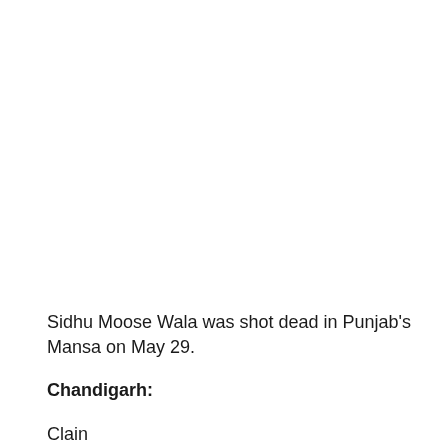Sidhu Moose Wala was shot dead in Punjab's Mansa on May 29.
Chandigarh:
Clain                                                                             er of singer Sidhu Moose Wala, police from Punjab's Mohali